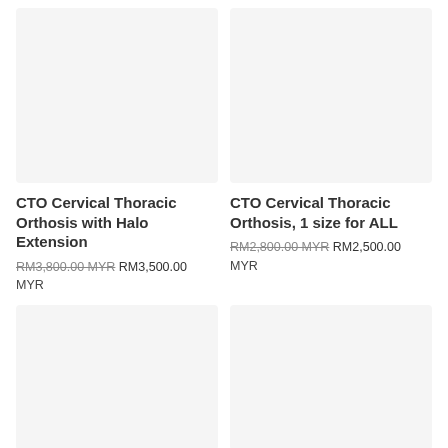[Figure (photo): Product image placeholder (light gray background) for CTO Cervical Thoracic Orthosis with Halo Extension]
CTO Cervical Thoracic Orthosis with Halo Extension
RM3,800.00 MYR RM3,500.00 MYR
[Figure (photo): Product image placeholder (light gray background) for CTO Cervical Thoracic Orthosis, 1 size for ALL]
CTO Cervical Thoracic Orthosis, 1 size for ALL
RM2,800.00 MYR RM2,500.00 MYR
[Figure (photo): Product image placeholder (light gray background) - bottom left product]
[Figure (photo): Product image placeholder (light gray background) - bottom right product]